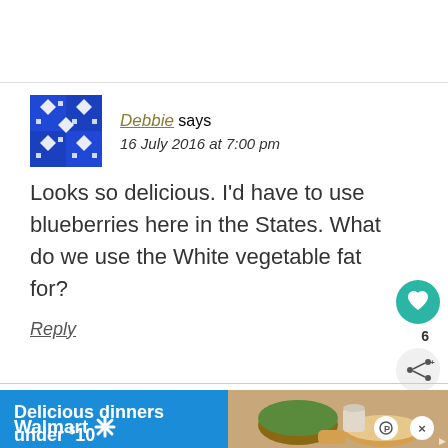[Figure (illustration): Blue and white geometric patterned avatar icon for user Debbie]
Debbie says
16 July 2016 at 7:00 pm
Looks so delicious. I'd have to use blueberries here in the States. What do we use the White vegetable fat for?
Reply
[Figure (illustration): Teal circular heart/like button with count of 6, and share button below]
[Figure (photo): Walmart advertisement banner: Delicious dinners under $10, Shop now, Walmart logo, food images on right side]